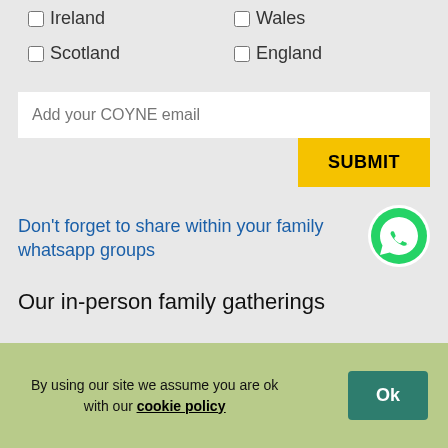Ireland
Wales
Scotland
England
Add your COYNE email
SUBMIT
Don't forget to share within your family whatsapp groups
[Figure (logo): WhatsApp green phone icon]
Our in-person family gatherings
By using our site we assume you are ok with our cookie policy
Ok